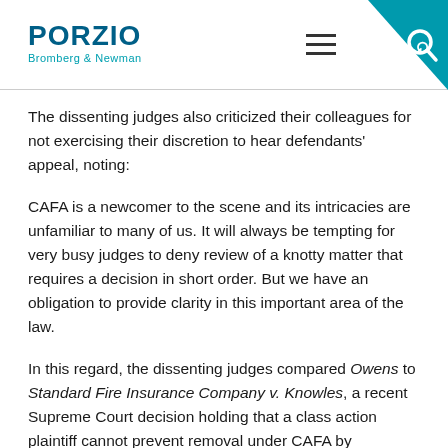[Figure (logo): Porzio Bromberg & Newman law firm logo with teal color scheme and search/menu icons]
The dissenting judges also criticized their colleagues for not exercising their discretion to hear defendants' appeal, noting:
CAFA is a newcomer to the scene and its intricacies are unfamiliar to many of us. It will always be tempting for very busy judges to deny review of a knotty matter that requires a decision in short order. But we have an obligation to provide clarity in this important area of the law.
In this regard, the dissenting judges compared Owens to Standard Fire Insurance Company v. Knowles, a recent Supreme Court decision holding that a class action plaintiff cannot prevent removal under CAFA by stipulating, before certification of the class, that he and the class will not seek...